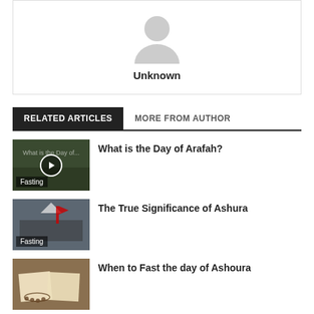[Figure (illustration): Author avatar placeholder - gray silhouette icon]
Unknown
RELATED ARTICLES
MORE FROM AUTHOR
[Figure (photo): Video thumbnail of a crowd scene (Day of Arafah) with play button overlay and Fasting label]
What is the Day of Arafah?
[Figure (photo): Photo of large crowd at Ashura gathering with red flag and tent, labeled Fasting]
The True Significance of Ashura
[Figure (photo): Photo of open book with prayer beads, labeled Fasting]
When to Fast the day of Ashoura